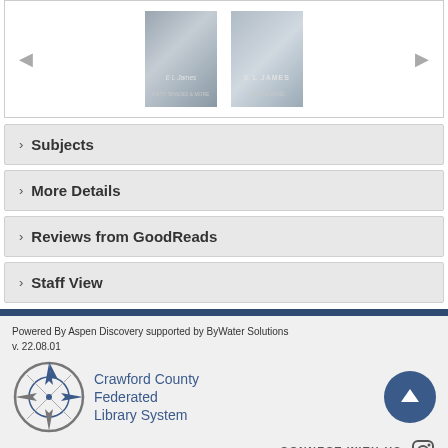[Figure (screenshot): Book carousel showing two book covers by E L James with left/right navigation arrows]
› Subjects
› More Details
› Reviews from GoodReads
› Staff View
Powered By Aspen Discovery supported by ByWater Solutions
v. 22.08.01
[Figure (logo): Crawford County Federated Library System compass logo with scroll-to-top button and Instagram connect icon]